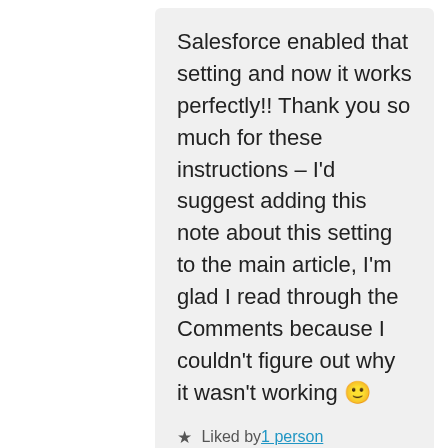Salesforce enabled that setting and now it works perfectly!! Thank you so much for these instructions – I'd suggest adding this note about this setting to the main article, I'm glad I read through the Comments because I couldn't figure out why it wasn't working 🙂
★ Liked by 1 person
Reply
[Figure (photo): Circular avatar photo of Doug Ayers, a bearded man]
Doug Ayers
July 13, 2017 at 8:37 am